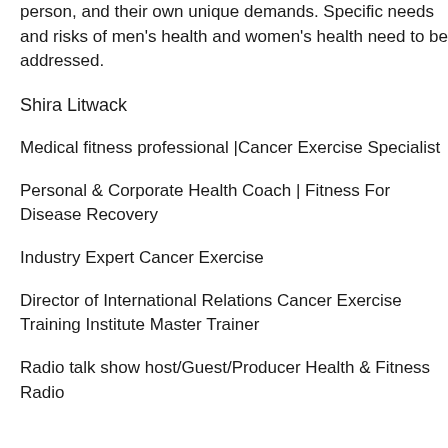person, and their own unique demands. Specific needs and risks of men's health and women's health need to be addressed.
Shira Litwack
Medical fitness professional |Cancer Exercise Specialist
Personal & Corporate Health Coach | Fitness For Disease Recovery
Industry Expert Cancer Exercise
Director of International Relations Cancer Exercise Training Institute Master Trainer
Radio talk show host/Guest/Producer Health & Fitness Radio